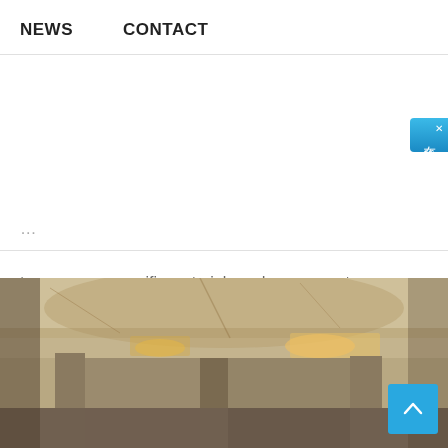NEWS   CONTACT
to use exam specific materials and you are not permitted to use any physical writing instruments such as a pen marker or pencil Through our personal trainer certification you can achieve the highest quality programs available in personal training education Our team also provides the best learning materials so you can experience the most advanced learning online The NationalPTI personal trainer certification has been designed to guide you in an easy to understand format
[Figure (photo): Interior photo of what appears to be an underground parking structure or basement with exposed concrete ceiling and pillars, industrial lighting visible]